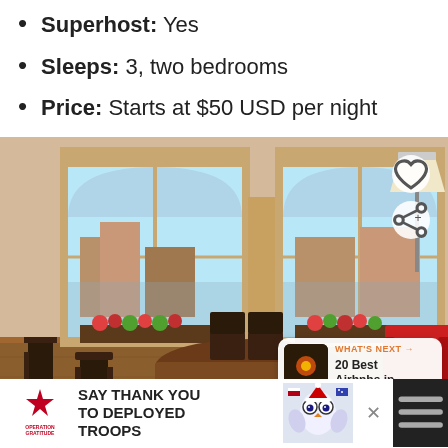Superhost: Yes
Sleeps: 3, two bedrooms
Price: Starts at $50 USD per night
[Figure (photo): Interior photo of an apartment with large arched French doors/windows overlooking a balcony with buildings in the background. The room has a dining table with chairs, a lamp, red armchair, and hardwood floors. Overlays include a heart button, share button, and a 'What's Next' preview card showing '20 Best Airbnbs in...']
[Figure (infographic): Advertisement banner for Operation Gratitude: 'SAY THANK YOU TO DEPLOYED TROOPS' with patriotic design and owl mascot image]